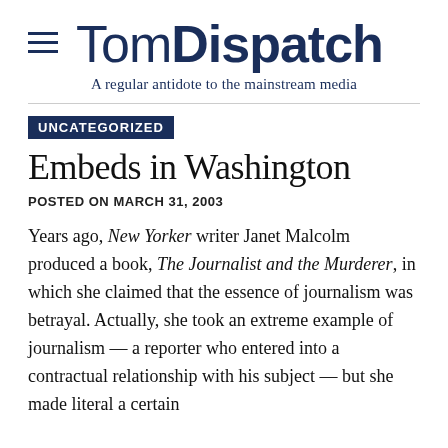TomDispatch
A regular antidote to the mainstream media
UNCATEGORIZED
Embeds in Washington
POSTED ON MARCH 31, 2003
Years ago, New Yorker writer Janet Malcolm produced a book, The Journalist and the Murderer, in which she claimed that the essence of journalism was betrayal. Actually, she took an extreme example of journalism — a reporter who entered into a contractual relationship with his subject — but she made literal a certain